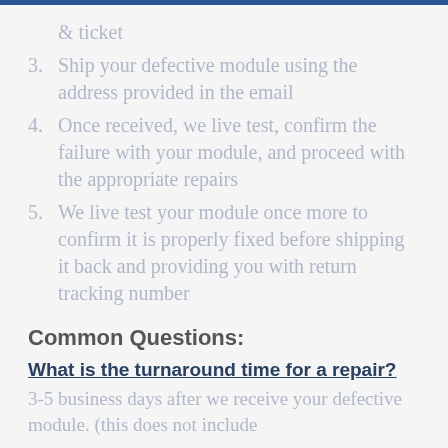& ticket
3. Ship your defective module using the address provided in the email
4. Once received, we live test, confirm the failure with your module, and proceed with the appropriate repairs
5. We live test your module once more to confirm it is properly fixed before shipping it back and providing you with return tracking number
Common Questions:
What is the turnaround time for a repair?
3-5 business days after we receive your defective module. (this does not include